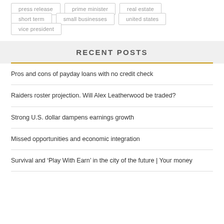press release
prime minister
real estate
short term
small businesses
united states
vice president
RECENT POSTS
Pros and cons of payday loans with no credit check
Raiders roster projection. Will Alex Leatherwood be traded?
Strong U.S. dollar dampens earnings growth
Missed opportunities and economic integration
Survival and ‘Play With Earn’ in the city of the future | Your money